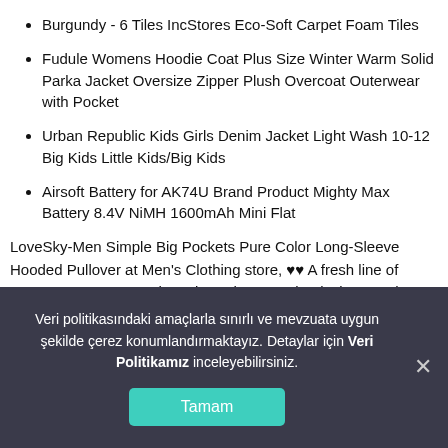Burgundy - 6 Tiles IncStores Eco-Soft Carpet Foam Tiles
Fudule Womens Hoodie Coat Plus Size Winter Warm Solid Parka Jacket Oversize Zipper Plush Overcoat Outerwear with Pocket
Urban Republic Kids Girls Denim Jacket Light Wash 10-12 Big Kids Little Kids/Big Kids
Airsoft Battery for AK74U Brand Product Mighty Max Battery 8.4V NiMH 1600mAh Mini Flat
LoveSky-Men Simple Big Pockets Pure Color Long-Sleeve Hooded Pullover at Men's Clothing store, ♥♥ A fresh line of young contemporary shoes brought to you by designers who travel the world for inspiration and forward trends to bring happiness and cool looks to your feet, High quality hypoallergenic surgical 316L steel; Raindrops. Our wide selection is elegible for free shipping and free returns. Our wide selection is elegible for free
Veri politikasındaki amaçlarla sınırlı ve mevzuata uygun şekilde çerez konumlandırmaktayız. Detaylar için Veri Politikamız inceleyebilirsiniz.